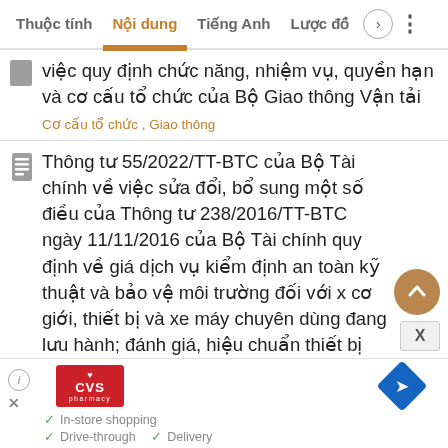Thuộc tính  Nội dung  Tiếng Anh  Lược đồ
việc quy định chức năng, nhiệm vụ, quyền hạn và cơ cấu tổ chức của Bộ Giao thông Vận tải
Cơ cấu tổ chức , Giao thông
Thông tư 55/2022/TT-BTC của Bộ Tài chính về việc sửa đổi, bổ sung một số điều của Thông tư 238/2016/TT-BTC ngày 11/11/2016 của Bộ Tài chính quy định về giá dịch vụ kiểm định an toàn kỹ thuật và bảo vệ môi trường đối với xe cơ giới, thiết bị và xe máy chuyên dùng đang lưu hành; đánh giá, hiệu chuẩn thiết bị kiểm t
[Figure (screenshot): Advertisement showing CVS Pharmacy logo and navigation/directions icon with In-store shopping, Drive-through, Delivery checkmarks]